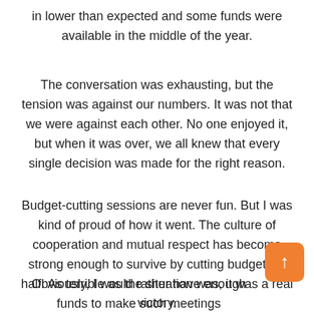in lower than expected and some funds were available in the middle of the year.
The conversation was exhausting, but the tension was against our numbers. It was not that we were against each other. No one enjoyed it, but when it was over, we all knew that every single decision was made for the right reason.
Budget-cutting sessions are never fun. But I was kind of proud of how it went. The culture of cooperation and mutual respect has become strong enough to survive by cutting budgets in half. As terrible as the situation was, it was a real victory.
Obviously, I would rather have enough funds to make such meetings unnecessary. But I am proud of my